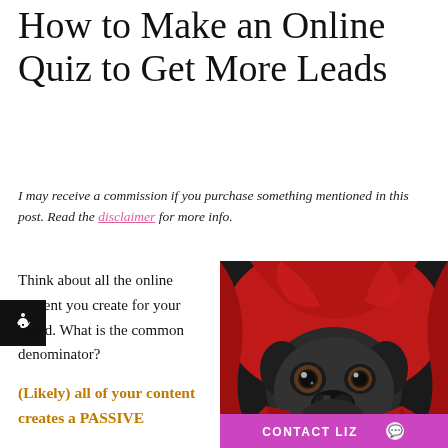How to Make an Online Quiz to Get More Leads
I may receive a commission if you purchase something mentioned in this post. Read the disclaimer for more info.
Think about all the online content you create for your brand. What is the common denominator?
(Likely) all of your content creates a PASSIVE...
[Figure (photo): A black pug dog wrapped in a red hooded blanket, looking directly at camera with wide eyes. A pink/magenta 'CONTACT LIZ' button is overlaid at the bottom.]